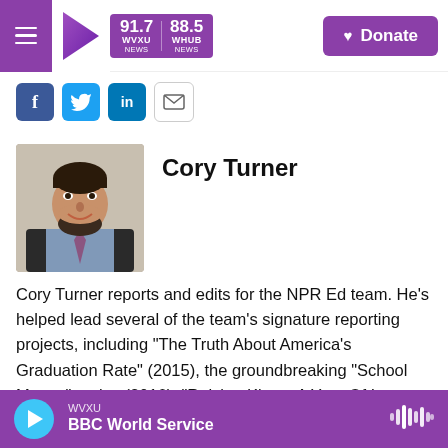WVXU 91.7 / WHUB 88.5 NEWS | Donate
[Figure (screenshot): Social share icons: Facebook, Twitter, LinkedIn, Email]
Cory Turner
[Figure (photo): Headshot photo of Cory Turner, a man with a beard and dark hair, smiling, wearing a suit jacket and tie]
Cory Turner reports and edits for the NPR Ed team. He's helped lead several of the team's signature reporting projects, including "The Truth About America's Graduation Rate" (2015), the groundbreaking "School Money" series (2016), "Raising Kings: A Year Of Love And Struggle At Ron Brown College Prep" (2017), and the NPR Life Kit parenting podcast with Sesame Workshop (2019).
WVXU — BBC World Service